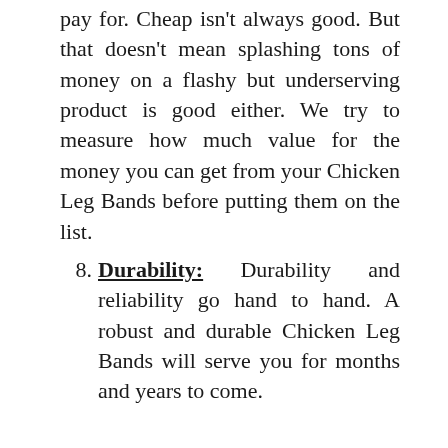pay for. Cheap isn't always good. But that doesn't mean splashing tons of money on a flashy but underserving product is good either. We try to measure how much value for the money you can get from your Chicken Leg Bands before putting them on the list.
8. Durability: Durability and reliability go hand to hand. A robust and durable Chicken Leg Bands will serve you for months and years to come.